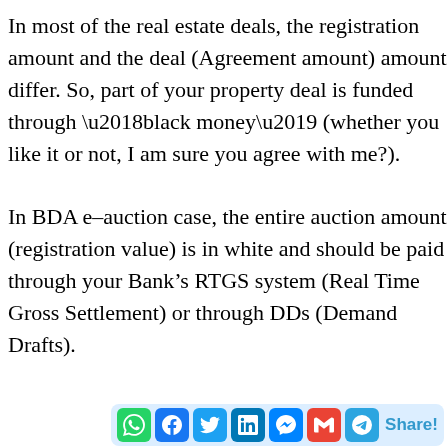In most of the real estate deals, the registration amount and the deal (Agreement amount) amount differ. So, part of your property deal is funded through ‘black money’ (whether you like it or not, I am sure you agree with me?).
In BDA e-auction case, the entire auction amount (registration value) is in white and should be paid through your Bank’s RTGS system (Real Time Gross Settlement) or through DDs (Demand Drafts).